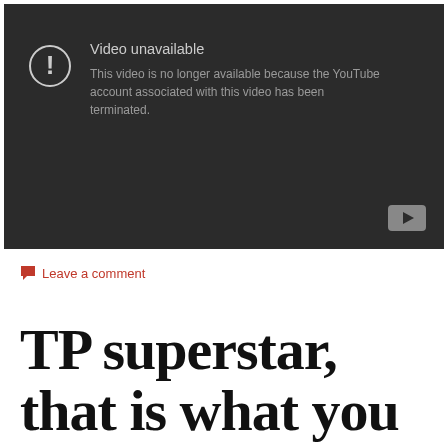[Figure (screenshot): YouTube video unavailable error screen with dark background. Shows exclamation mark icon, text 'Video unavailable' and 'This video is no longer available because the YouTube account associated with this video has been terminated.' YouTube logo button in bottom right corner.]
Leave a comment
TP superstar, that is what you are